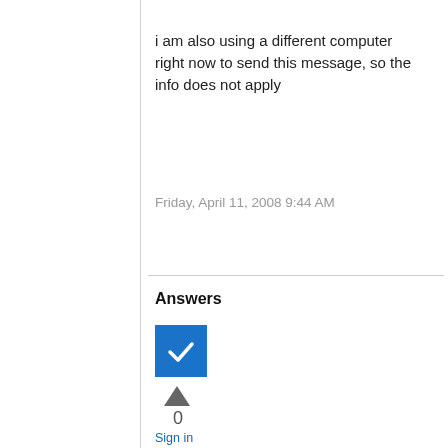i am also using a different computer right now to send this message, so the info does not apply
Friday, April 11, 2008 9:44 AM
Answers
[Figure (other): Blue checkbox/checkmark icon indicating accepted answer]
[Figure (other): Upvote arrow triangle]
0
Sign in to vote
Hello,